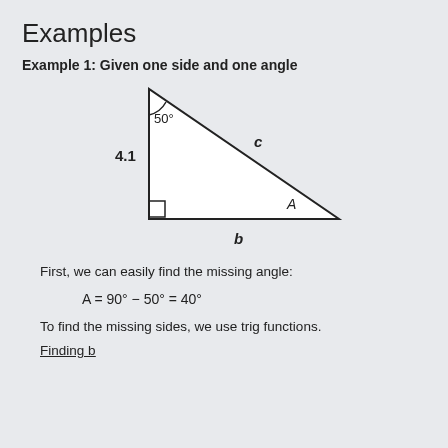Examples
Example 1: Given one side and one angle
[Figure (illustration): Right triangle with vertices at top-left (top), bottom-left (right angle), and bottom-right (angle A). Left side labeled 4.1, hypotenuse labeled c, bottom labeled b. Top angle is 50 degrees. Right angle marker at bottom-left.]
First, we can easily find the missing angle:
To find the missing sides, we use trig functions.
Finding b